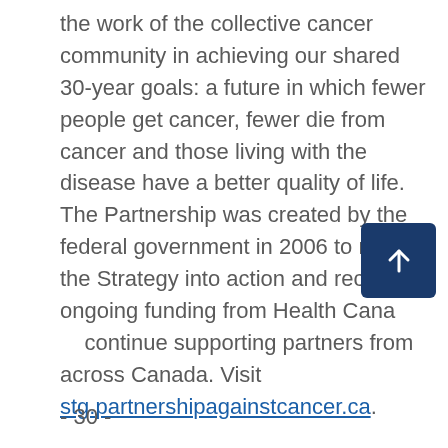the work of the collective cancer community in achieving our shared 30-year goals: a future in which fewer people get cancer, fewer die from cancer and those living with the disease have a better quality of life. The Partnership was created by the federal government in 2006 to move the Strategy into action and receives ongoing funding from Health Canada to continue supporting partners from across Canada. Visit stg.partnershipagainstcancer.ca.
- 30 -